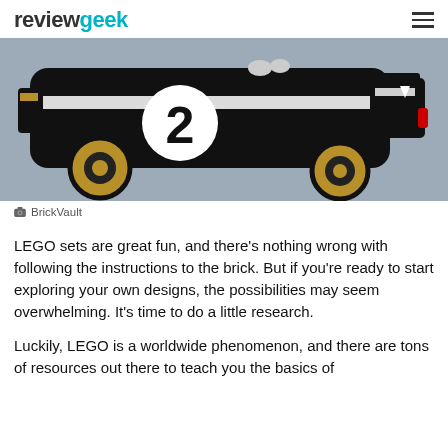reviewgeek
[Figure (photo): Close-up photo of a black LEGO racing car model with gold wheels and a number 2 on the side, set against a grey background]
BrickVault
LEGO sets are great fun, and there’s nothing wrong with following the instructions to the brick. But if you’re ready to start exploring your own designs, the possibilities may seem overwhelming. It’s time to do a little research.
Luckily, LEGO is a worldwide phenomenon, and there are tons of resources out there to teach you the basics of